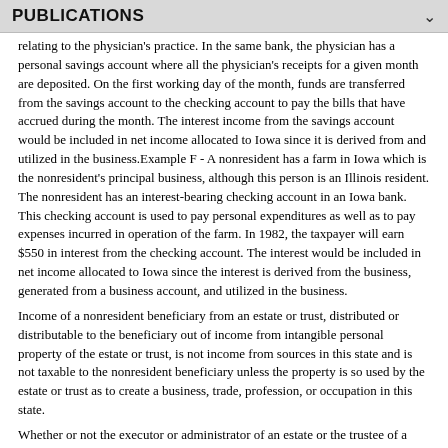PUBLICATIONS
relating to the physician's practice. In the same bank, the physician has a personal savings account where all the physician's receipts for a given month are deposited. On the first working day of the month, funds are transferred from the savings account to the checking account to pay the bills that have accrued during the month. The interest income from the savings account would be included in net income allocated to Iowa since it is derived from and utilized in the business.Example F - A nonresident has a farm in Iowa which is the nonresident's principal business, although this person is an Illinois resident. The nonresident has an interest-bearing checking account in an Iowa bank. This checking account is used to pay personal expenditures as well as to pay expenses incurred in operation of the farm. In 1982, the taxpayer will earn $550 in interest from the checking account. The interest would be included in net income allocated to Iowa since the interest is derived from the business, generated from a business account, and utilized in the business.
Income of a nonresident beneficiary from an estate or trust, distributed or distributable to the beneficiary out of income from intangible personal property of the estate or trust, is not income from sources in this state and is not taxable to the nonresident beneficiary unless the property is so used by the estate or trust as to create a business, trade, profession, or occupation in this state.
Whether or not the executor or administrator of an estate or the trustee of a trust is a resident of this state is immaterial, insofar as the taxation of income of beneficiaries from the estate or trust are concerned.
Example G - A nonresident is a partner in a family investment partnership in which the other partners are members of the same family. The other partners are residents of Iowa. The partnership is not incorporated for its interest-bearing securities, but is which